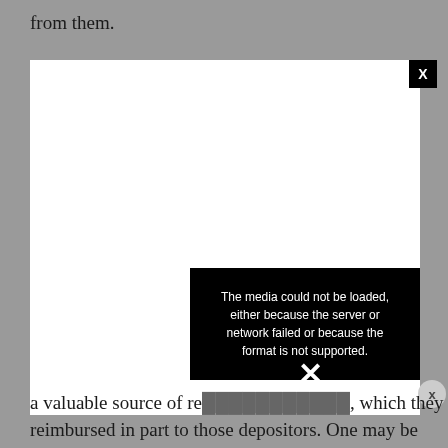from them.
[Figure (screenshot): A white media player box with a black close button (X) in the top-right corner, overlaid by a black error message panel reading: 'The media could not be loaded, either because the server or network failed or because the format is not supported.' with a white X symbol in the center of the error panel, and a circular close button on the right side.]
a valuable source of re…………, which they reimbursed in part to those depositors. One may be